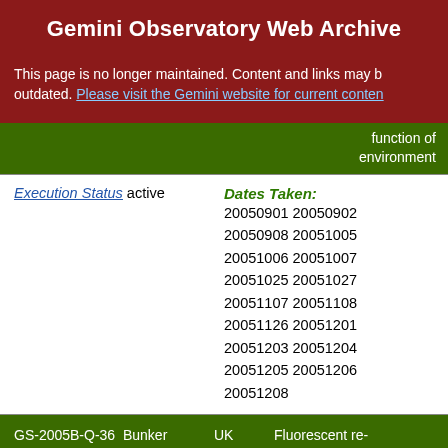Gemini Observatory Web Archive
This page is no longer maintained. Content and links may be outdated. Please visit the Gemini website for current content
function of environment
Execution Status active
Dates Taken: 20050901 20050902 20050908 20051005 20051006 20051007 20051025 20051027 20051107 20051108 20051126 20051201 20051203 20051204 20051205 20051206 20051208
GS-2005B-Q-36  Bunker  UK  Fluorescent re-emission of the ionizing UV background f...